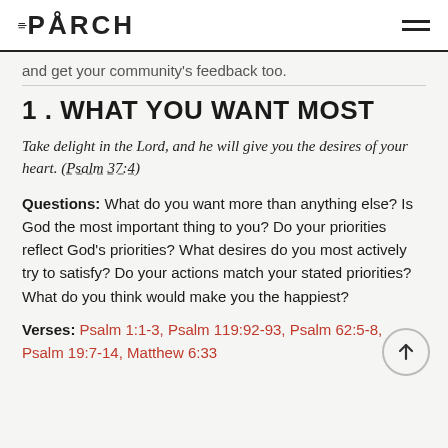THE PORCH
and get your community's feedback too.
1. WHAT YOU WANT MOST
Take delight in the Lord, and he will give you the desires of your heart. (Psalm 37:4)
Questions: What do you want more than anything else? Is God the most important thing to you? Do your priorities reflect God's priorities? What desires do you most actively try to satisfy? Do your actions match your stated priorities? What do you think would make you the happiest?
Verses: Psalm 1:1-3, Psalm 119:92-93, Psalm 62:5-8, Psalm 19:7-14, Matthew 6:33